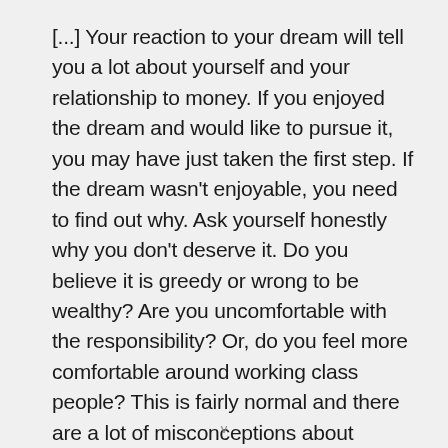[...] Your reaction to your dream will tell you a lot about yourself and your relationship to money. If you enjoyed the dream and would like to pursue it, you may have just taken the first step. If the dream wasn't enjoyable, you need to find out why. Ask yourself honestly why you don't deserve it. Do you believe it is greedy or wrong to be wealthy? Are you uncomfortable with the responsibility? Or, do you feel more comfortable around working class people? This is fairly normal and there are a lot of misconceptions about wealth. It's important to realize that you don't have to change your lifestyle once you have money and most American millionaires never do.
v